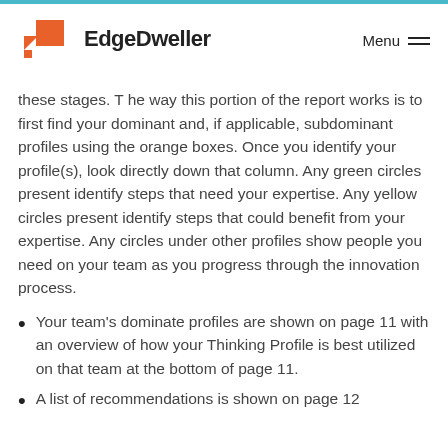EdgeDweller
these stages. The way this portion of the report works is to first find your dominant and, if applicable, subdominant profiles using the orange boxes. Once you identify your profile(s), look directly down that column. Any green circles present identify steps that need your expertise. Any yellow circles present identify steps that could benefit from your expertise. Any circles under other profiles show people you need on your team as you progress through the innovation process.
Your team's dominate profiles are shown on page 11 with an overview of how your Thinking Profile is best utilized on that team at the bottom of page 11.
A list of recommendations is shown on page 12